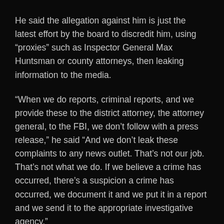He said the allegation against him is just the latest effort by the board to discredit him, using “proxies” such as Inspector General Max Huntsman or county attorneys, then leaking information to the media.
“When we do reports, criminal reports, and we provide these to the district attorney, the attorney general, to the FBI, we don’t follow with a press release,” he said “And we don’t leak these complaints to any news outlet. That’s not our job. That’s not what we do. If we believe a crime has occurred, there’s a suspicion a crime has occurred, we document it and we put it in a report and we send it to the appropriate investigative agency.”
The false-report allegation is the latest development in a lengthy series of clashes and tense relations between Villanueva and other county leaders since he took office in